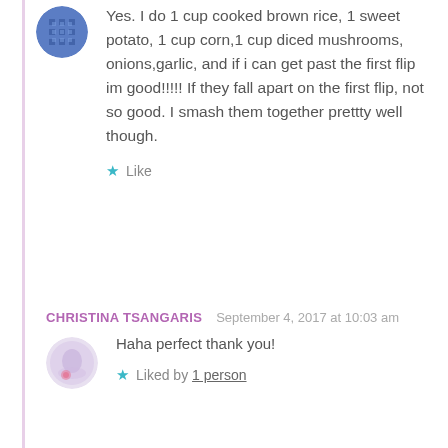Yes. I do 1 cup cooked brown rice, 1 sweet potato, 1 cup corn,1 cup diced mushrooms, onions,garlic, and if i can get past the first flip im good!!!!! If they fall apart on the first flip, not so good. I smash them together prettty well though.
Like
CHRISTINA TSANGARIS  September 4, 2017 at 10:03 am
Haha perfect thank you!
Liked by 1 person